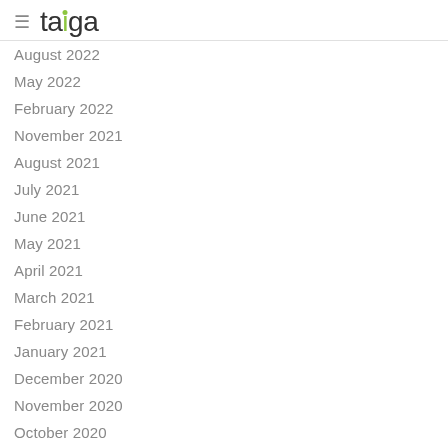taiga
August 2022
May 2022
February 2022
November 2021
August 2021
July 2021
June 2021
May 2021
April 2021
March 2021
February 2021
January 2021
December 2020
November 2020
October 2020